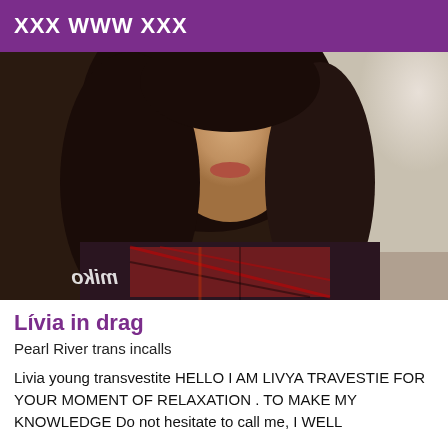XXX WWW XXX
[Figure (photo): Portrait photo of a young woman with long dark hair wearing a plaid top, with 'miko' watermark in bottom left corner (mirrored text).]
Lívia in drag
Pearl River trans incalls
Livia young transvestite HELLO I AM LIVYA TRAVESTIE FOR YOUR MOMENT OF RELAXATION . TO MAKE MY KNOWLEDGE Do not hesitate to call me, I WELL